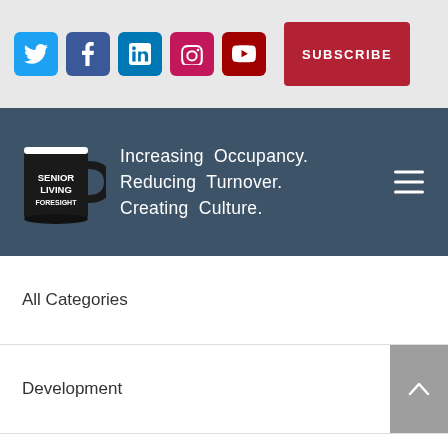[Figure (infographic): Social media icons (Twitter, Facebook, LinkedIn, Instagram, YouTube) and a SUBSCRIBE button on a light gray bar]
[Figure (logo): Senior Living Foresight logo with a black coffee mug and tagline: Increasing Occupancy. Reducing Turnover. Creating Culture. on a dark blue-gray header banner with hamburger menu icon]
All Categories
Development
Employee Engagement
Empower Initiative
Share This  ✓  ×